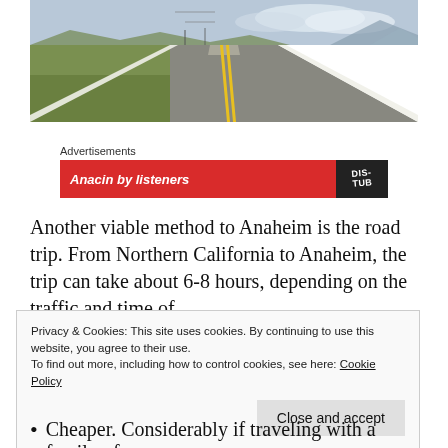[Figure (photo): A straight two-lane highway stretching to the horizon through a flat, arid landscape with mountains in the distance and a cloudy sky. The road has a double yellow center line and white edge lines.]
Advertisements
[Figure (other): Advertisement banner with red background showing partial text 'Anacin by listeners' and a dark badge with 'DIS-' and 'TUB' text.]
Another viable method to Anaheim is the road trip. From Northern California to Anaheim, the trip can take about 6-8 hours, depending on the traffic and time of
Privacy & Cookies: This site uses cookies. By continuing to use this website, you agree to their use.
To find out more, including how to control cookies, see here: Cookie Policy
Cheaper. Considerably if traveling with a family of